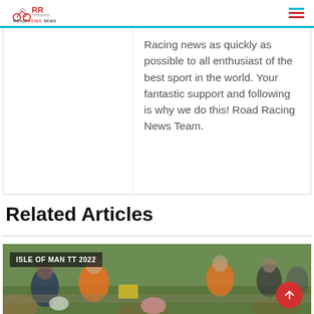Road Racing News
Racing news as quickly as possible to all enthusiast of the best sport in the world. Your fantastic support and following is why we do this! Road Racing News Team.
Related Articles
[Figure (photo): Isle of Man TT 2022 - marshals in orange vests standing along the roadside with green grass in background]